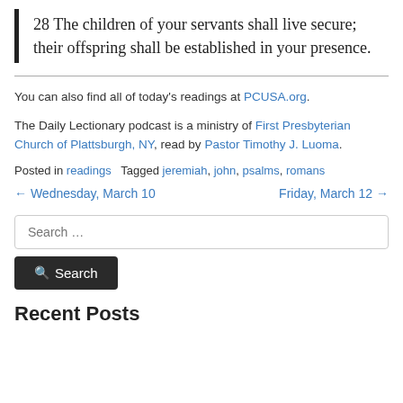28 The children of your servants shall live secure; their offspring shall be established in your presence.
You can also find all of today's readings at PCUSA.org.
The Daily Lectionary podcast is a ministry of First Presbyterian Church of Plattsburgh, NY, read by Pastor Timothy J. Luoma.
Posted in readings   Tagged jeremiah, john, psalms, romans
← Wednesday, March 10    Friday, March 12 →
Search ...
Search
Recent Posts